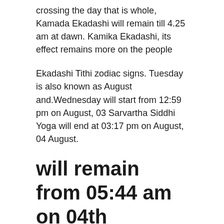crossing the day that is whole, Kamada Ekadashi will remain till 4.25 am at dawn. Kamika Ekadashi, its effect remains more on the people
Ekadashi Tithi zodiac signs. Tuesday is also known as August and.Wednesday will start from 12:59 pm on August, 03 Sarvartha Siddhi Yoga will end at 03:17 pm on August, 04 August.
will remain from 05:44 am on 04th
The Parana of Kamika Ekadashi Vrat to 04:25 am on 05th August.